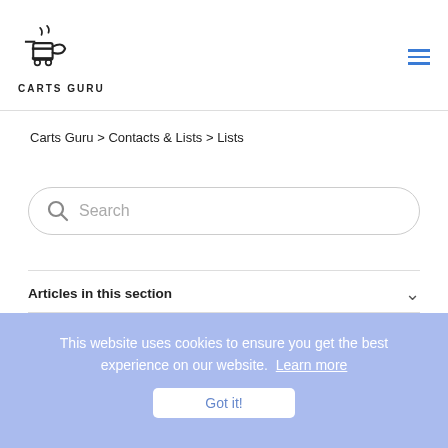[Figure (logo): CartsGuru logo — stylized shopping cart icon with text CARTSGURU below]
Carts Guru > Contacts & Lists > Lists
Search
Articles in this section
This website uses cookies to ensure you get the best experience on our website. Learn more
How to create a static list